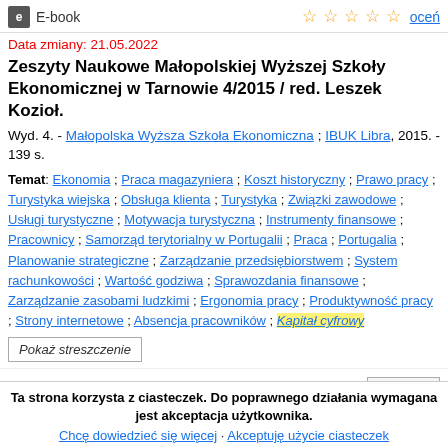E-book
Data zmiany: 21.05.2022
Zeszyty Naukowe Małopolskiej Wyższej Szkoły Ekonomicznej w Tarnowie 4/2015 / red. Leszek Kozioł.
Wyd. 4. - Małopolska Wyższa Szkoła Ekonomiczna ; IBUK Libra, 2015. - 139 s.
Temat: Ekonomia ; Praca magazyniera ; Koszt historyczny ; Prawo pracy ; Turystyka wiejska ; Obsługa klienta ; Turystyka ; Związki zawodowe ; Usługi turystyczne ; Motywacja turystyczna ; Instrumenty finansowe ; Pracownicy ; Samorząd terytorialny w Portugalii ; Praca ; Portugalia ; Planowanie strategiczne ; Zarządzanie przedsiębiorstwem ; System rachunkowości ; Wartość godziwa ; Sprawozdania finansowe ; Zarządzanie zasobami ludzkimi ; Ergonomia pracy ; Produktywność pracy ; Strony internetowe ; Absencja pracowników ; Kapitał cyfrowy
Pokaż streszczenie
Ta strona korzysta z ciasteczek. Do poprawnego działania wymagana jest akceptacja użytkownika. Chcę dowiedzieć się więcej · Akceptuję użycie ciasteczek